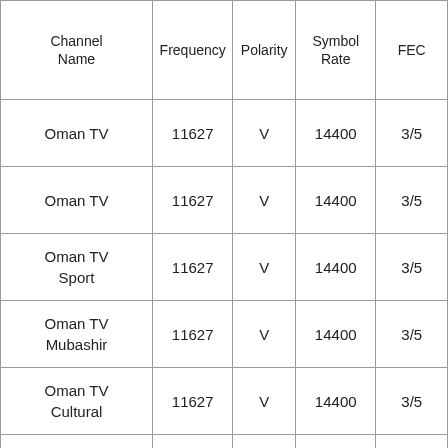| Channel Name | Frequency | Polarity | Symbol Rate | FEC |
| --- | --- | --- | --- | --- |
| Oman TV | 11627 | V | 14400 | 3/5 |
| Oman TV | 11627 | V | 14400 | 3/5 |
| Oman TV Sport | 11627 | V | 14400 | 3/5 |
| Oman TV Mubashir | 11627 | V | 14400 | 3/5 |
| Oman TV Cultural | 11627 | V | 14400 | 3/5 |
| test card | 11627 | V | 14400 | 3/5 |
|  | 11627 | V | 14400 | 3/5 |